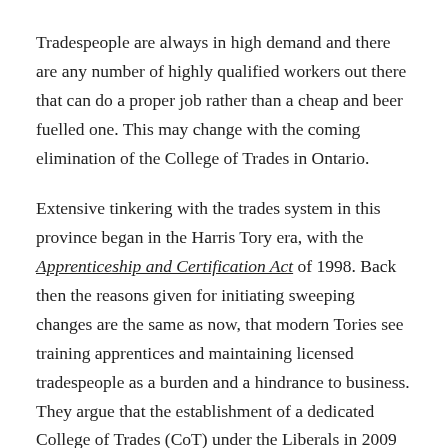Tradespeople are always in high demand and there are any number of highly qualified workers out there that can do a proper job rather than a cheap and beer fuelled one. This may change with the coming elimination of the College of Trades in Ontario.
Extensive tinkering with the trades system in this province began in the Harris Tory era, with the Apprenticeship and Certification Act of 1998. Back then the reasons given for initiating sweeping changes are the same as now, that modern Tories see training apprentices and maintaining licensed tradespeople as a burden and a hindrance to business. They argue that the establishment of a dedicated College of Trades (CoT) under the Liberals in 2009 added an